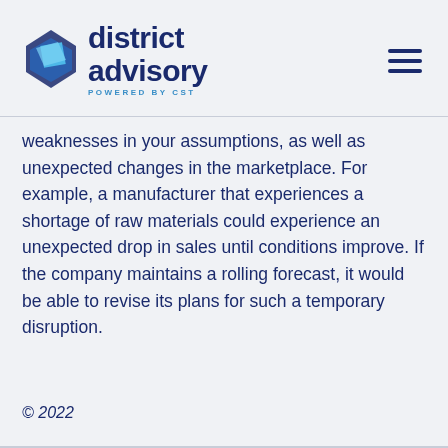[Figure (logo): District Advisory logo with diamond-shaped icon in blue tones and text 'district advisory POWERED BY CST']
weaknesses in your assumptions, as well as unexpected changes in the marketplace. For example, a manufacturer that experiences a shortage of raw materials could experience an unexpected drop in sales until conditions improve. If the company maintains a rolling forecast, it would be able to revise its plans for such a temporary disruption.
© 2022